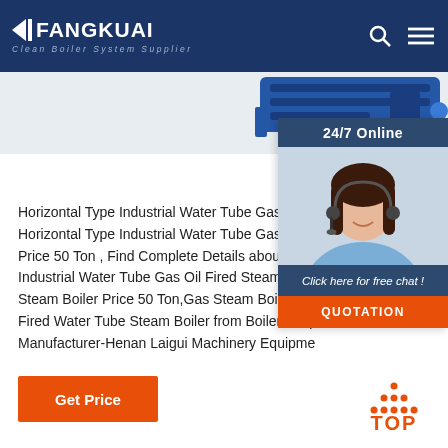FANGKUAI - Clean Boiler System Supplier
[Figure (screenshot): Blue industrial boiler product image strip]
[Figure (photo): 24/7 Online customer service widget with photo of woman with headset, 'Click here for free chat!' text, and orange QUOTATION button]
Horizontal Type Industrial Water Tube Gas Oil Fired Steam Boiler Price 50 Ton , Find Complete Details about Horizontal Type Industrial Water Tube Gas Oil Fired Steam Boiler Price 50 Ton,Gas Steam Boiler Price,Gas Oil Fired Water Tube Steam Boiler from Boilers Supplier or Manufacturer-Henan Laigui Machinery Equipment
Get Price
[Figure (illustration): Orange TOP back-to-top button with dot triangle arrow]